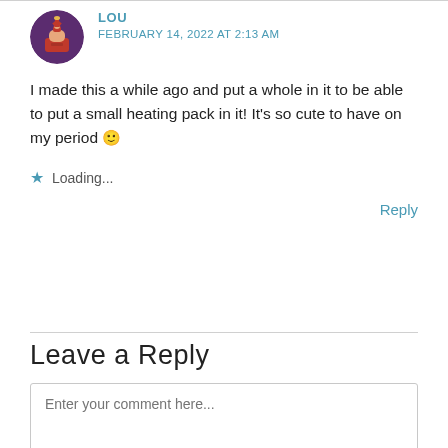LOU
FEBRUARY 14, 2022 AT 2:13 AM
I made this a while ago and put a whole in it to be able to put a small heating pack in it! It's so cute to have on my period 🙂
★ Loading...
Reply
Leave a Reply
Enter your comment here...